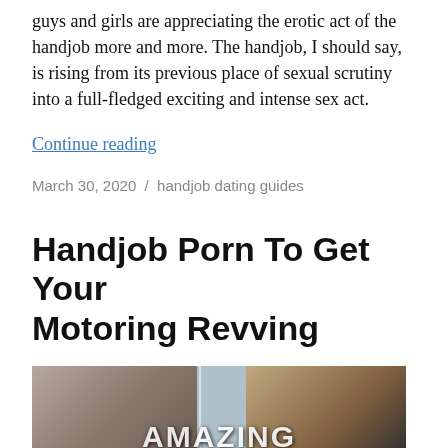guys and girls are appreciating the erotic act of the handjob more and more. The handjob, I should say, is rising from its previous place of sexual scrutiny into a full-fledged exciting and intense sex act.
Continue reading
March 30, 2020 / handjob dating guides
Handjob Porn To Get Your Motoring Revving
[Figure (photo): A photo collage showing multiple people in different scenes, with partial text overlay reading 'AMAZING' at the bottom]